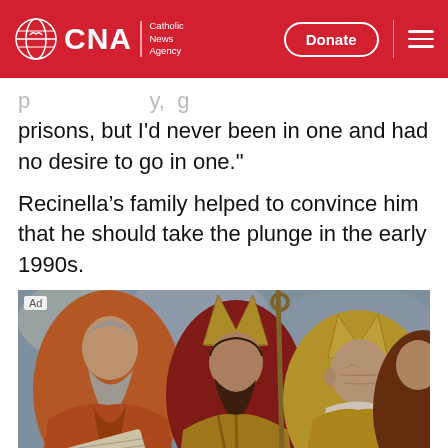CNA | Catholic News Agency — Donate
prisons, but I'd never been in one and had no desire to go in one."
Recinella’s family helped to convince him that he should take the plunge in the early 1990s.
[Figure (photo): Advertisement image showing a detail of a classical religious painting featuring elderly bearded figures in ecclesiastical robes and mitres, including bishops and saints in a Renaissance or Baroque style.]